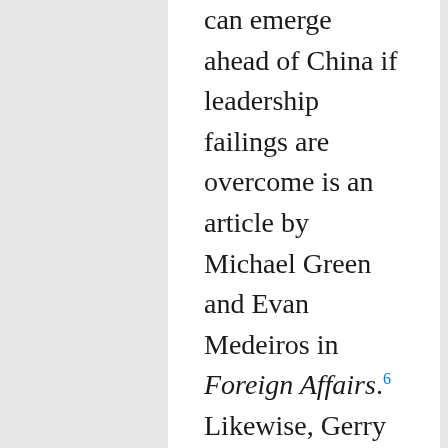can emerge ahead of China if leadership failings are overcome is an article by Michael Green and Evan Medeiros in Foreign Affairs.6 Likewise, Gerry Shim wrote that Beijing was only getting mixed results from its campaign to capitalize on the epidemic, in many cases even suffering a backlash, ending with a warning that a reckoning lies ahead for China after